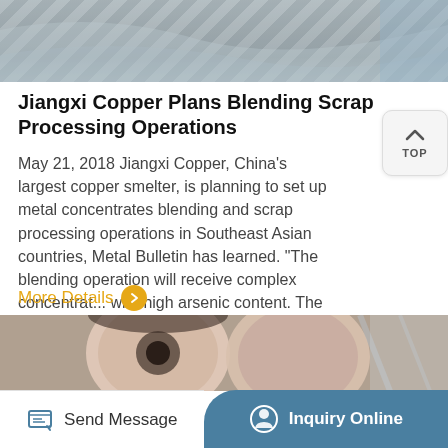[Figure (photo): Top portion of an industrial/metallic surface, appears to be scrap metal or copper smelting equipment, gray tones]
Jiangxi Copper Plans Blending Scrap Processing Operations
May 21, 2018 Jiangxi Copper, China’s largest copper smelter, is planning to set up metal concentrates blending and scrap processing operations in Southeast Asian countries, Metal Bulletin has learned. “The blending operation will receive complex concentrat... with high arsenic content. The scale of the …
More Details ›
[Figure (photo): Industrial copper smelting equipment – large cylindrical metallic drums/rollers in an industrial facility]
Send Message
Inquiry Online